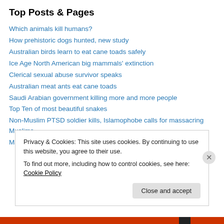Top Posts & Pages
Which animals kill humans?
How prehistoric dogs hunted, new study
Australian birds learn to eat cane toads safely
Ice Age North American big mammals' extinction
Clerical sexual abuse survivor speaks
Australian meat ants eat cane toads
Saudi Arabian government killing more and more people
Top Ten of most beautiful snakes
Non-Muslim PTSD soldier kills, Islamophobe calls for massacring Muslims
Marienburg plantation, Suriname
Privacy & Cookies: This site uses cookies. By continuing to use this website, you agree to their use.
To find out more, including how to control cookies, see here: Cookie Policy